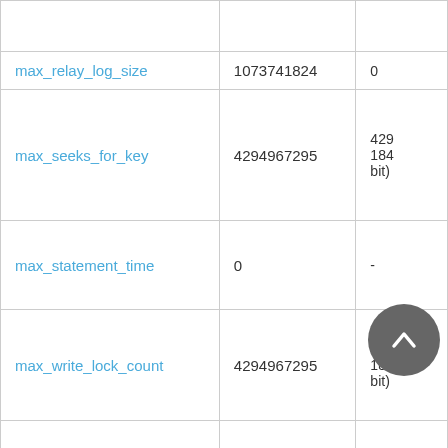| Variable | Value | Range |
| --- | --- | --- |
|  |  |  |
| max_relay_log_size | 1073741824 | 0 |
| max_seeks_for_key | 4294967295 | 429
184
bit) |
| max_statement_time | 0 | - |
| max_write_lock_count | 4294967295 | 429
184
bit) |
| mrr_buffer_size | 262144 | - |
| myisam_block_size | 1024 |  |